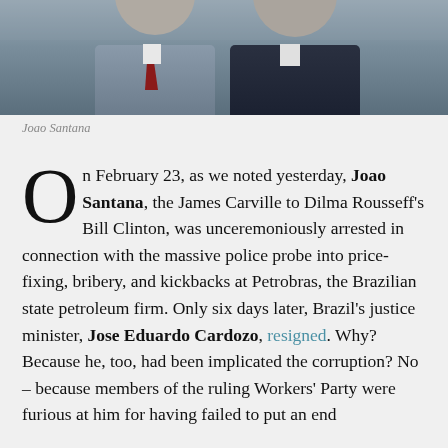[Figure (photo): Photo of two men in suits, one wearing a dark suit and another wearing a grey suit with a red tie]
Joao Santana
On February 23, as we noted yesterday, Joao Santana, the James Carville to Dilma Rousseff's Bill Clinton, was unceremoniously arrested in connection with the massive police probe into price-fixing, bribery, and kickbacks at Petrobras, the Brazilian state petroleum firm. Only six days later, Brazil's justice minister, Jose Eduardo Cardozo, resigned. Why? Because he, too, had been implicated the corruption? No – because members of the ruling Workers' Party were furious at him for having failed to put an end